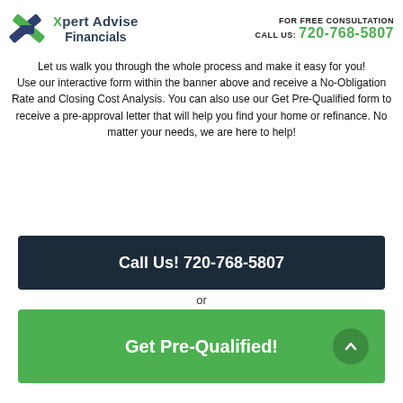[Figure (logo): Xpert Advise Financials logo with X icon in dark blue and green]
FOR FREE CONSULTATION
CALL US: 720-768-5807
Let us walk you through the whole process and make it easy for you! Use our interactive form within the banner above and receive a No-Obligation Rate and Closing Cost Analysis. You can also use our Get Pre-Qualified form to receive a pre-approval letter that will help you find your home or refinance. No matter your needs, we are here to help!
Call Us! 720-768-5807
or
Get Pre-Qualified!